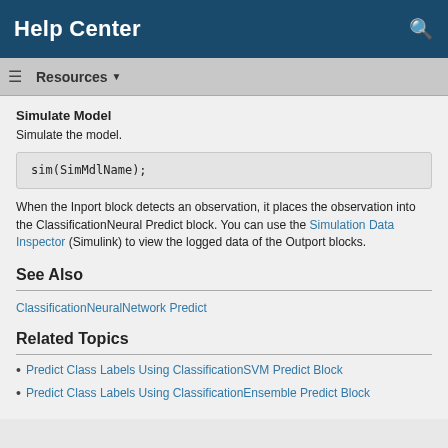Help Center
Simulate Model
Simulate the model.
When the Inport block detects an observation, it places the observation into the ClassificationNeural Predict block. You can use the Simulation Data Inspector (Simulink) to view the logged data of the Outport blocks.
See Also
ClassificationNeuralNetwork Predict
Related Topics
Predict Class Labels Using ClassificationSVM Predict Block
Predict Class Labels Using ClassificationEnsemble Predict Block